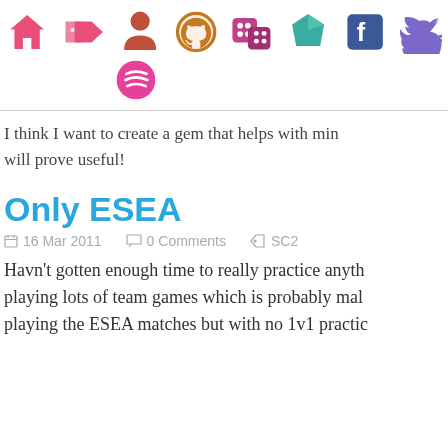[Figure (infographic): Navigation icon bar with home, tags, person, github, game dice, faceted gem, facebook, twitter icons in row 1, and spotify icon in row 2]
I think I want to create a gem that helps with min will prove useful!
Only ESEA
16 Mar 2011   0 Comments   SC2
Havn't gotten enough time to really practice anyth playing lots of team games which is probably mal playing the ESEA matches but with no 1v1 practic